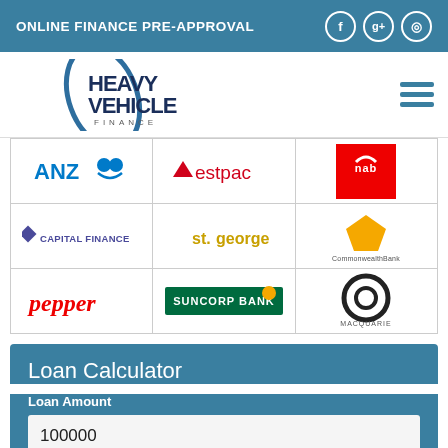ONLINE FINANCE PRE-APPROVAL
[Figure (logo): Heavy Vehicle Finance logo with swoosh graphic]
[Figure (infographic): Grid of bank/lender logos: ANZ, Westpac, NAB, Capital Finance, St.George, Commonwealth Bank, Pepper, Suncorp Bank, Macquarie]
Loan Calculator
Loan Amount
100000